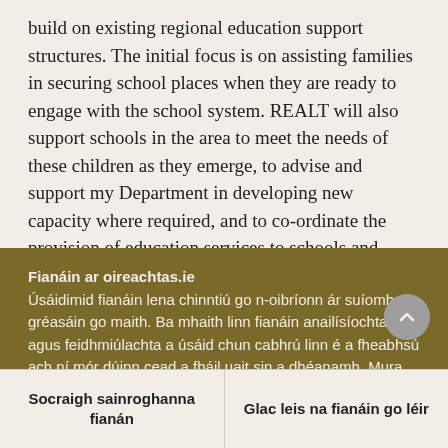build on existing regional education support structures. The initial focus is on assisting families in securing school places when they are ready to engage with the school system. REALT will also support schools in the area to meet the needs of these children as they emerge, to advise and support my Department in developing new capacity where required, and to co-ordinate the provision of education services to schools and families across
Fianáin ar oireachtas.ie
Úsáidimid fianáin lena chinntiú go n-oibríonn ár suíomh gréasáin go maith. Ba mhaith linn fianáin anailísíochta agus feidhmiúlachta a úsáid chun cabhrú linn é a fheabhsú ach ní mór dúinn cead a fháil uait sin a dhéanamh. Mura bhfuil tú sásta cead a thabhairt, ní úsáidfear ach fianáin riachtanacha. Léigh tuileadh faoinár bhfianáin
Socraigh sainroghanna fianán
Glac leis na fianáin go léir